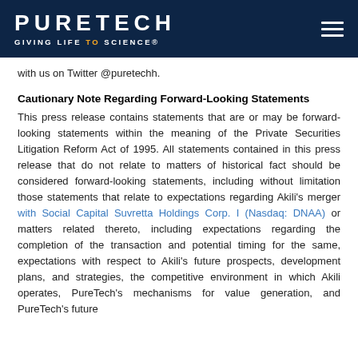PURETECH — GIVING LIFE TO SCIENCE®
with us on Twitter @puretechh.
Cautionary Note Regarding Forward-Looking Statements
This press release contains statements that are or may be forward-looking statements within the meaning of the Private Securities Litigation Reform Act of 1995. All statements contained in this press release that do not relate to matters of historical fact should be considered forward-looking statements, including without limitation those statements that relate to expectations regarding Akili's merger with Social Capital Suvretta Holdings Corp. I (Nasdaq: DNAA) or matters related thereto, including expectations regarding the completion of the transaction and potential timing for the same, expectations with respect to Akili's future prospects, development plans, and strategies, the competitive environment in which Akili operates, PureTech's mechanisms for value generation, and PureTech's future